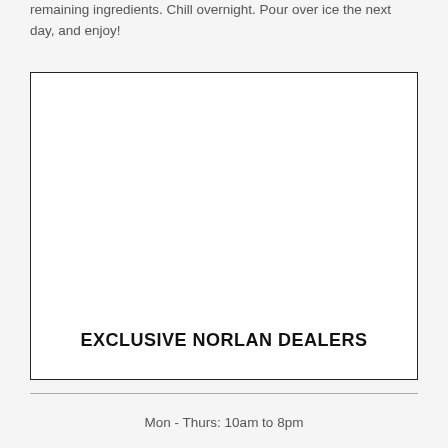remaining ingredients. Chill overnight. Pour over ice the next day, and enjoy!
[Figure (other): Advertisement box with text 'EXCLUSIVE NORLAN DEALERS']
Mon - Thurs: 10am to 8pm